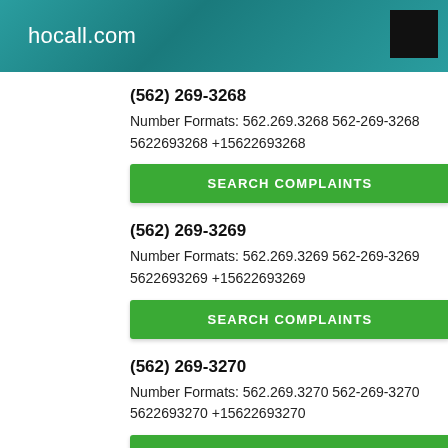hocall.com
(562) 269-3268
Number Formats: 562.269.3268 562-269-3268 5622693268 +15622693268
(562) 269-3269
Number Formats: 562.269.3269 562-269-3269 5622693269 +15622693269
(562) 269-3270
Number Formats: 562.269.3270 562-269-3270 5622693270 +15622693270